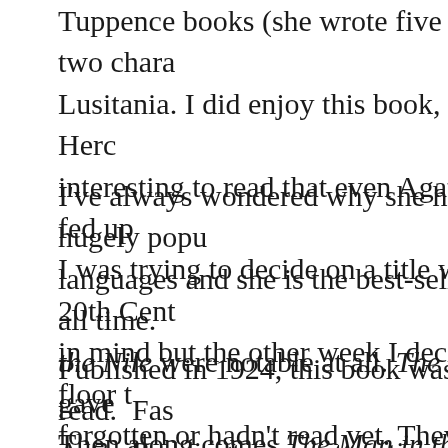Tuppence books (she wrote five starring these two characters). Lusitania. I did enjoy this book, probably because Hercule Poirot was interesting to read that even Agatha Christie got fed up with him. I was trying to decide on a title written in the 20th Century in mind but the other week I decided to clean our floor to books I'd forgotten or hadn't read yet. They included a row of Agatha Christie.
I've always wondered why she has been so hugely popular. She wrote in 103 languages and she is the best-selling novelist of all time. Death on the Nile were notable at all. The Secret Adversary gave me hope. Then along comes The Man in the Brown Suit and I think...
Published in 1924, this book was a pleasure to read. Fast-paced! Anne Beddington, an attractive young woman, is left orphaned. She witnesses the accidental death of a stranger who falls at the tube. A man in a brown suit examine the body, pronounce him dead, she sees him break into a run, dropping a piece of paper as he does so. Anne embarks a journey which takes her all the way to South Africa on a hunt for stolen diamonds, kidnappings and threats on her own life.